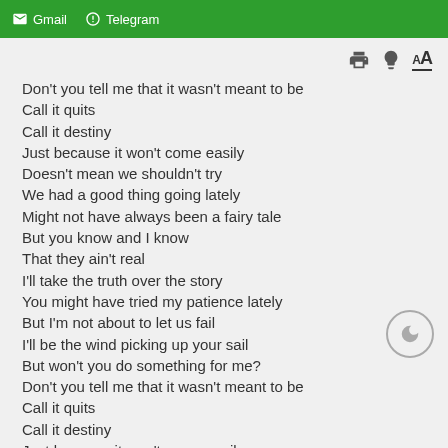Gmail  Telegram
[Figure (screenshot): Toolbar icons: print, lightbulb, and font size AA controls]
Don't you tell me that it wasn't meant to be
Call it quits
Call it destiny
Just because it won't come easily
Doesn't mean we shouldn't try
We had a good thing going lately
Might not have always been a fairy tale
But you know and I know
That they ain't real
I'll take the truth over the story
You might have tried my patience lately
But I'm not about to let us fail
I'll be the wind picking up your sail
But won't you do something for me?
Don't you tell me that it wasn't meant to be
Call it quits
Call it destiny
Just because it won't come easily
Doesn't mean we shouldn't try
Coming and going
Inside out
Back to front
[Figure (illustration): Moon/night mode toggle button (crescent moon icon in circle)]